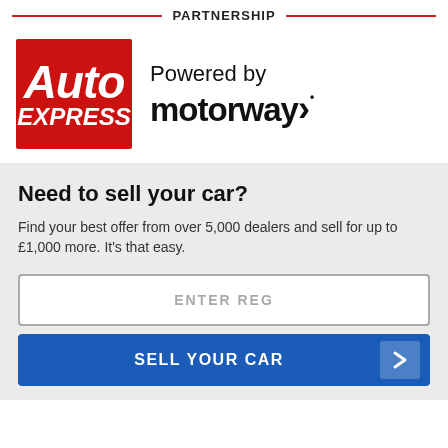PARTNERSHIP
[Figure (logo): Auto Express and Motorway partnership logos. Auto Express logo: red background with white italic bold 'Auto' and 'EXPRESS' text. Powered by motorway text with motorway logo.]
Need to sell your car?
Find your best offer from over 5,000 dealers and sell for up to £1,000 more. It's that easy.
ENTER REG
SELL YOUR CAR